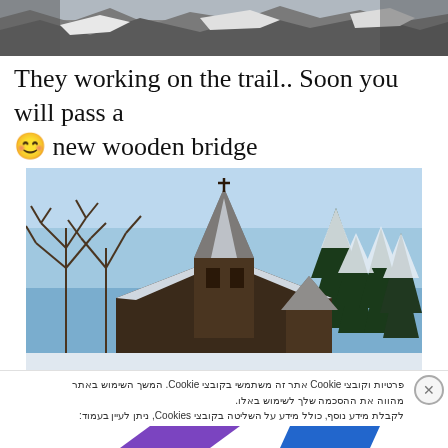[Figure (photo): Top portion of a snowy rocky outdoor trail scene, cropped at the top of the page]
They working on the trail.. Soon you will pass a 😊 new wooden bridge
[Figure (photo): A wooden church or chapel with a cross on top of a spire, snow-covered roof, surrounded by snow-covered pine trees and bare deciduous branches against a blue sky]
פרטיות וקובצי Cookie אתר זה משתמשי בקובצי Cookie. המשך השימוש באתר מהווה את ההסכמה שלך לשימוש באלו. לקבלת מידע נוסף, כולל מידע על השליטה בקובצי Cookies, ניתן לעיין בעמוד: מדיניות קובצי ה-Cookie
להסכים ולסגור